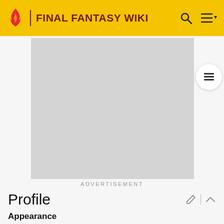FINAL FANTASY WIKI
[Figure (screenshot): Advertisement placeholder - grey rectangle]
ADVERTISEMENT
Profile
Appearance
Desch is a slender youth with teal hair and purple eyes in his 3D render and in his Amano sketchwork. He is depicted in a purple bodysuit with a single pauldron over his left shoulder. In his NES appearance, his field sprite